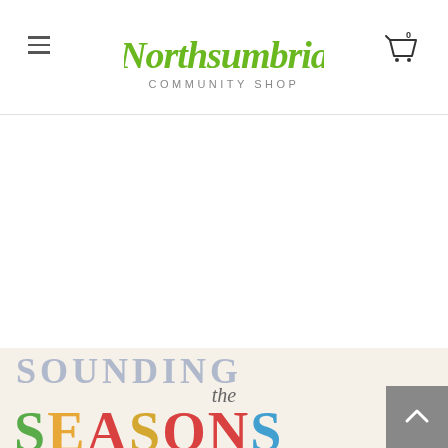[Figure (logo): Northsumbria Community Shop logo — stylized green handwritten 'Northsumbria' above 'COMMUNITY SHOP' in grey sans-serif]
[Figure (illustration): Bottom portion of a book cover showing partial text 'SOUNDING' at top, 'the' in italic, and 'SEASONS' in large multicolored letters (green, orange, red, blue)]